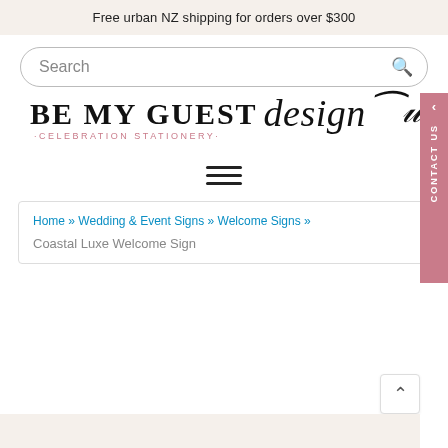Free urban NZ shipping for orders over $300
Search
[Figure (logo): BE MY GUEST design - CELEBRATION STATIONERY - logo with serif uppercase text and italic script]
[Figure (other): Hamburger menu icon with three horizontal lines]
Home » Wedding & Event Signs » Welcome Signs »
Coastal Luxe Welcome Sign